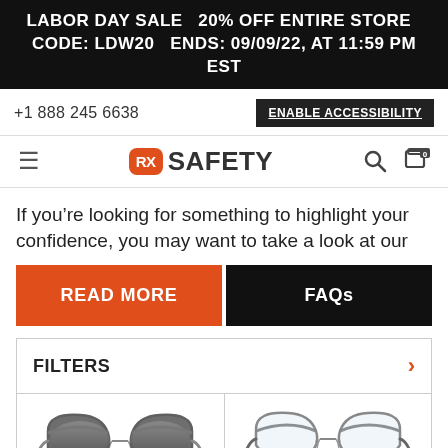LABOR DAY SALE   20% OFF ENTIRE STORE   CODE: LDW20   ENDS: 09/09/22, AT 11:59 PM EST
+1 888 245 6638
ENABLE ACCESSIBILITY
[Figure (logo): RX Safety logo with orange rounded rectangle containing 'RX' and 'SAFETY' text, hamburger menu icon, search icon, and cart icon]
If you’re looking for something to highlight your confidence, you may want to take a look at our
READ MORE
FAQs
FILTERS
[Figure (photo): Dark metal aviator sunglasses with gradient lenses, left product]
[Figure (photo): Metal aviator eyeglasses with clear lenses, right product]